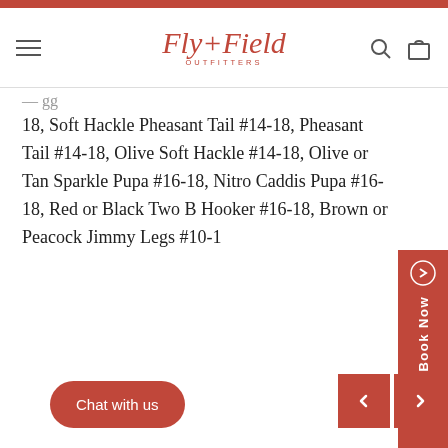Fly+Field Outfitters — navigation header with logo, search and bag icons
18, Soft Hackle Pheasant Tail #14-18, Pheasant Tail #14-18, Olive Soft Hackle #14-18, Olive or Tan Sparkle Pupa #16-18, Nitro Caddis Pupa #16-18, Red or Black Two B Hooker #16-18, Brown or Peacock Jimmy Legs #10-1
[Figure (other): Book Now vertical sidebar button in burnt orange/red]
[Figure (other): Social share icons: Facebook, Twitter, Pinterest, Email]
Lower Deschutes Reports
[Figure (other): Chat with us rounded button and left/right navigation arrow buttons]